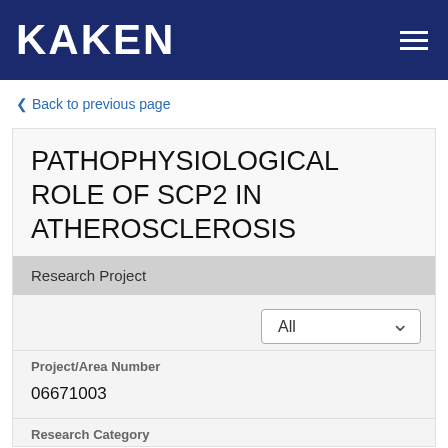KAKEN
Back to previous page
PATHOPHYSIOLOGICAL ROLE OF SCP2 IN ATHEROSCLEROSIS
Research Project
All
Project/Area Number
06671003
Research Category